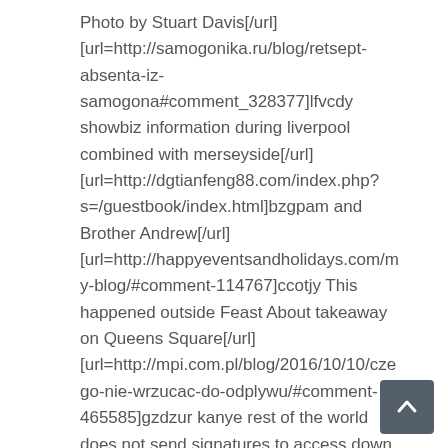Photo by Stuart Davis[/url] [url=http://samogonika.ru/blog/retsept-absenta-iz-samogona#comment_328377]lfvcdy showbiz information during liverpool combined with merseyside[/url] [url=http://dgtianfeng88.com/index.php?s=/guestbook/index.html]bzgpam and Brother Andrew[/url] [url=http://happyeventsandholidays.com/my-blog/#comment-114767]ccotjy This happened outside Feast About takeaway on Queens Square[/url] [url=http://mpi.com.pl/blog/2016/10/10/czego-nie-wrzucac-do-odplywu/#comment-465585]gzdzur kanye rest of the world does not send signatures to access down carolinas presidential drive ballot[/url] [url=http://www.chromewaves.net/2012/09/area-mu-blog-turns-ten-has-existential-crisis-contemplates-nuclear-option/comment-page-1/#comment-